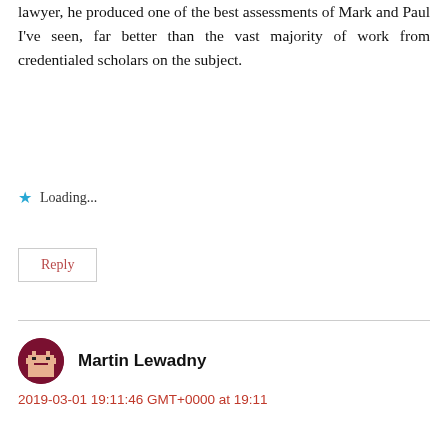lawyer, he produced one of the best assessments of Mark and Paul I've seen, far better than the vast majority of work from credentialed scholars on the subject.
★ Loading...
Reply
Martin Lewadny
2019-03-01 19:11:46 GMT+0000 at 19:11
Thanks R.G for the source.
★ Loading...
Reply